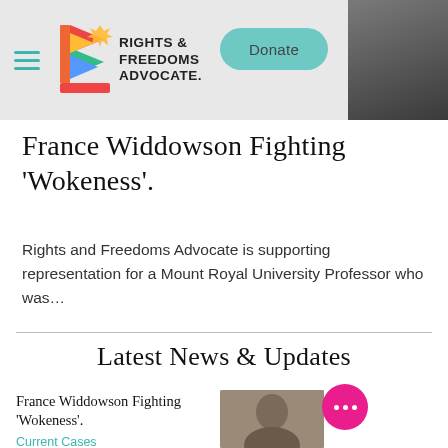[Figure (logo): Rights and Freedoms Advocate logo with colorful graphic mark and bold uppercase text]
[Figure (photo): Small portrait photo in top-right corner, partially visible, dark toned]
France Widdowson Fighting 'Wokeness'.
Rights and Freedoms Advocate is supporting representation for a Mount Royal University Professor who was…
Latest News & Updates
France Widdowson Fighting 'Wokeness'.
Current Cases